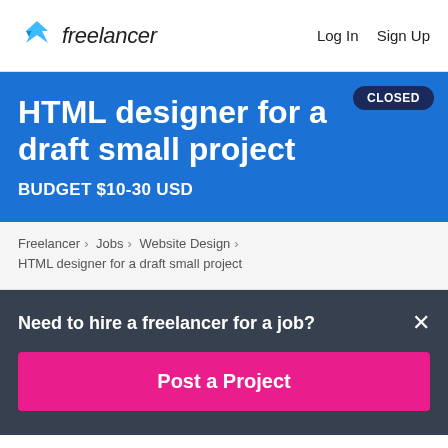Freelancer  Log In  Sign Up
HTML designer for a draft small project
BUDGET $10-30 USD
CLOSED
Freelancer › Jobs › Website Design › HTML designer for a draft small project
Need to hire a freelancer for a job?
Post a Project